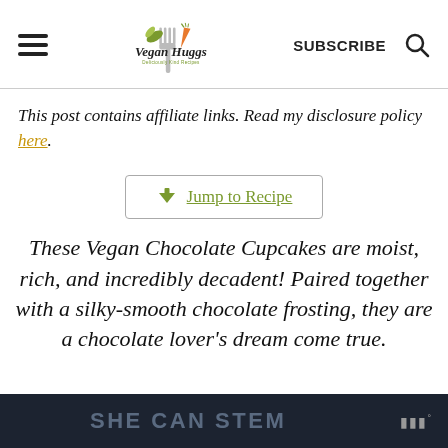Vegan Huggs — Deliciously Kind Recipes | SUBSCRIBE
This post contains affiliate links. Read my disclosure policy here.
Jump to Recipe
These Vegan Chocolate Cupcakes are moist, rich, and incredibly decadent! Paired together with a silky-smooth chocolate frosting, they are a chocolate lover's dream come true.
SHE CAN STEM